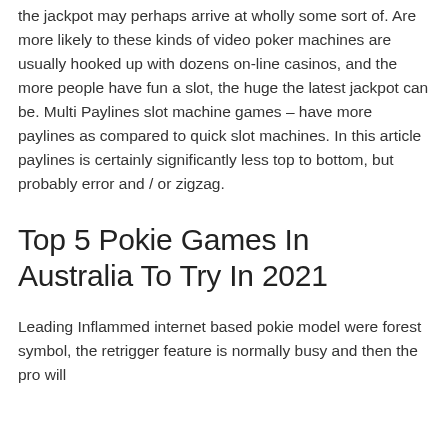the jackpot may perhaps arrive at wholly some sort of. Are more likely to these kinds of video poker machines are usually hooked up with dozens on-line casinos, and the more people have fun a slot, the huge the latest jackpot can be. Multi Paylines slot machine games – have more paylines as compared to quick slot machines. In this article paylines is certainly significantly less top to bottom, but probably error and / or zigzag.
Top 5 Pokie Games In Australia To Try In 2021
Leading Inflammed internet based pokie model were forest symbol, the retrigger feature is normally busy and then the pro will